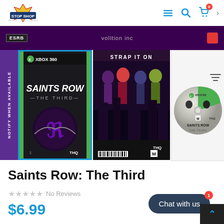[Figure (logo): Stop Shop logo with colorful text and graphic element]
[Figure (screenshot): Website header with navigation icons: hamburger menu, search, cart with badge '0', and chevron]
[Figure (photo): Purple/dark banner strip with ESRB label, 'volition inc' text, and red element]
[Figure (photo): Saints Row: The Third Xbox 360 game front cover with blue border and Notify When Available purple sidebar]
[Figure (photo): Saints Row: The Third game back cover showing characters and 'STRAP IT ON' text]
[Figure (photo): Saints Row: The Third game disc for Xbox 360]
Saints Row: The Third
No Reviews
$6.99
Chat with us